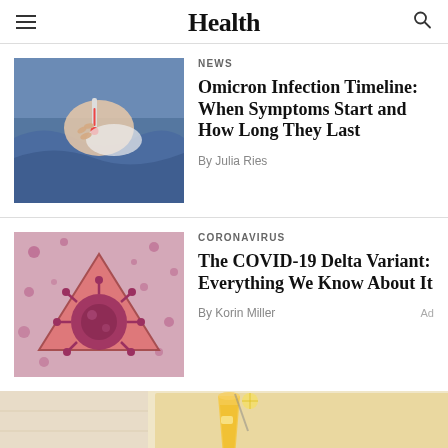Health
[Figure (photo): Person holding a thermometer wrapped in blanket, sick person]
NEWS
Omicron Infection Timeline: When Symptoms Start and How Long They Last
By Julia Ries
[Figure (illustration): COVID-19 virus illustration with triangle warning symbol on pink background]
CORONAVIRUS
The COVID-19 Delta Variant: Everything We Know About It
By Korin Miller
[Figure (photo): Advertisement image showing a yellow drink in a glass]